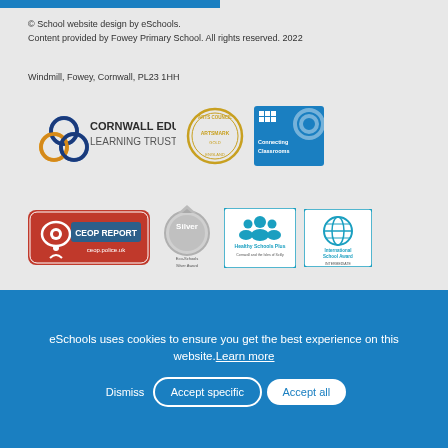© School website design by eSchools.
Content provided by Fowey Primary School. All rights reserved. 2022
Windmill, Fowey, Cornwall, PL23 1HH
[Figure (logo): Cornwall Education Learning Trust logo]
[Figure (logo): Arts Council England Artsmark badge]
[Figure (logo): British Council Connecting Classrooms badge]
[Figure (logo): CEOP Report ceop.police.uk badge]
[Figure (logo): Silver Eco-Schools Silver Award badge]
[Figure (logo): Healthy Schools Plus Cornwall and the Isles of Scilly badge]
[Figure (logo): International School Award Intermediate badge]
[Figure (logo): Delivering Sports badge]
eSchools uses cookies to ensure you get the best experience on this website. Learn more
Dismiss  Accept specific  Accept all